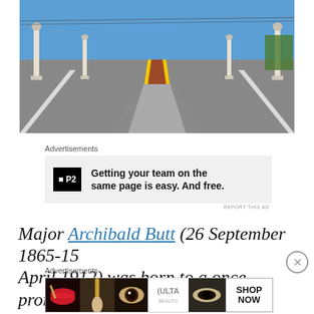[Figure (photo): A road/bridge viewed from ground level with yellow center lines and a red median strip. White ornamental columns with eagle sculptures visible on both sides. Blue sky in background with power lines and trees.]
Advertisements
[Figure (other): P2 advertisement: Getting your team on the same page is easy. And free.]
Major Archibald Butt (26 September 1865-15 April 1912) was born to a once prominent
Advertisements
[Figure (other): Ulta Beauty advertisement with makeup/cosmetics imagery and SHOP NOW button]